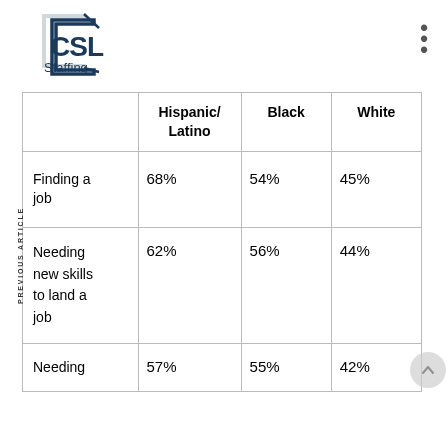[Figure (logo): CSL Staffing logo — blue square bracket frame with 'CSL' text and 'Staffing' label]
|  | Hispanic/Latino | Black | White |
| --- | --- | --- | --- |
| Finding a job | 68% | 54% | 45% |
| Needing new skills to land a job | 62% | 56% | 44% |
| Needing | 57% | 55% | 42% |